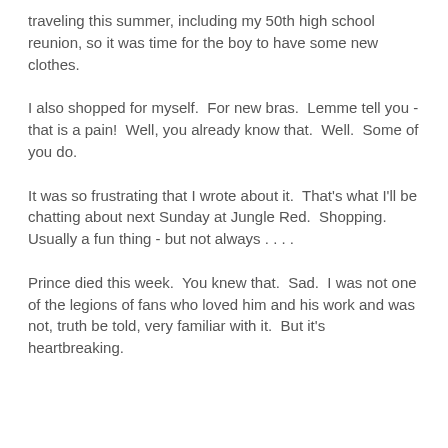traveling this summer, including my 50th high school reunion, so it was time for the boy to have some new clothes.
I also shopped for myself.  For new bras.  Lemme tell you - that is a pain!  Well, you already know that.  Well.  Some of you do.
It was so frustrating that I wrote about it.  That's what I'll be chatting about next Sunday at Jungle Red.  Shopping.  Usually a fun thing - but not always . . . .
Prince died this week.  You knew that.  Sad.  I was not one of the legions of fans who loved him and his work and was not, truth be told, very familiar with it.  But it's heartbreaking.